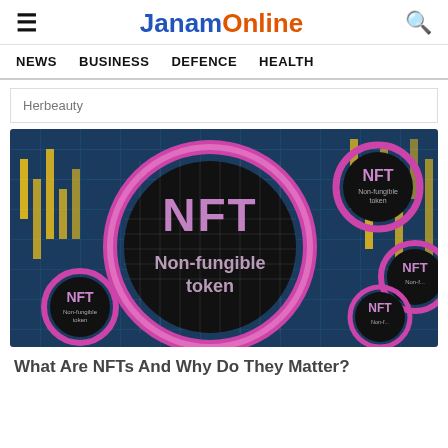JanamOnline — NEWS | BUSINESS | DEFENCE | HEALTH
Herbeauty
[Figure (photo): NFT coins showing 'NFT Non-fungible token' text on a dark circuit-board background with yellow and blue glowing elements]
What Are NFTs And Why Do They Matter?